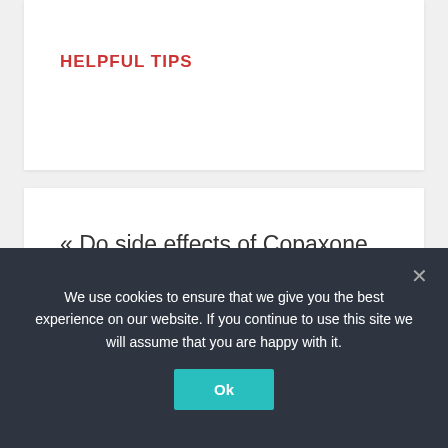HELPFUL TIPS
« Do side effects of Copaxone go away?
What does Ariana Grande Moonlight smell like? »
We use cookies to ensure that we give you the best experience on our website. If you continue to use this site we will assume that you are happy with it.